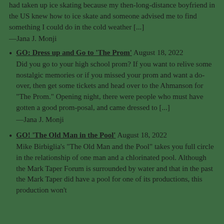had taken up ice skating because my then-long-distance boyfriend in the US knew how to ice skate and someone advised me to find something I could do in the cold weather [...]
—Jana J. Monji
GO: Dress up and Go to 'The Prom' August 18, 2022
Did you go to your high school prom? If you want to relive some nostalgic memories or if you missed your prom and want a do-over, then get some tickets and head over to the Ahmanson for "The Prom." Opening night, there were people who must have gotten a good prom-posal, and came dressed to [...]
—Jana J. Monji
GO! 'The Old Man in the Pool' August 18, 2022
Mike Birbiglia's "The Old Man and the Pool" takes you full circle in the relationship of one man and a chlorinated pool. Although the Mark Taper Forum is surrounded by water and that in the past the Mark Taper did have a pool for one of its productions, this production won't